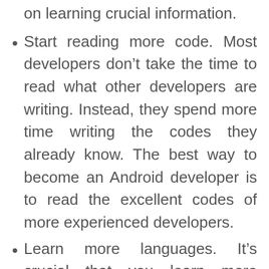on learning crucial information.
Start reading more code. Most developers don’t take the time to read what other developers are writing. Instead, they spend more time writing the codes they already know. The best way to become an Android developer is to read the excellent codes of more experienced developers.
Learn more languages. It’s crucial that you learn more programming languages. You need to keep yourself updated with the industry’s happenings rather than confining your